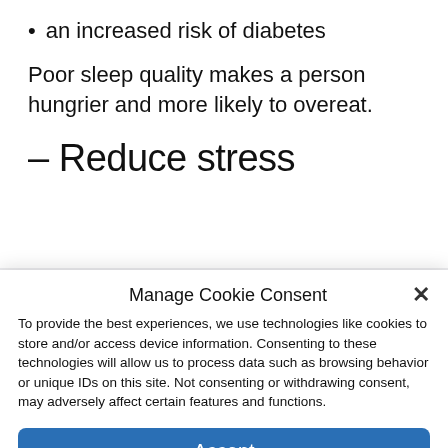an increased risk of diabetes
Poor sleep quality makes a person hungrier and more likely to overeat.
– Reduce stress
Manage Cookie Consent
To provide the best experiences, we use technologies like cookies to store and/or access device information. Consenting to these technologies will allow us to process data such as browsing behavior or unique IDs on this site. Not consenting or withdrawing consent, may adversely affect certain features and functions.
Accept
Cookie Policy